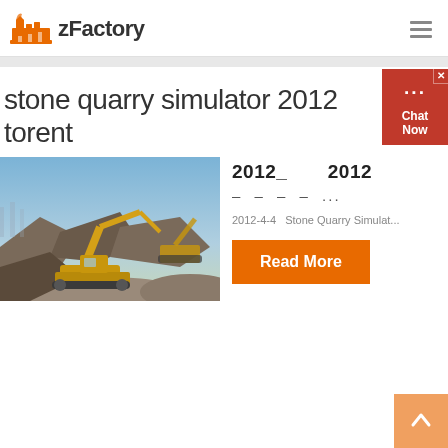zFactory
stone quarry simulator 2012 torent
[Figure (photo): Yellow excavator/mining machine working in a stone quarry with rocks and blue sky in background]
2012_          2012
– – – – ...
2012-4-4   Stone Quarry Simulat...
Read More